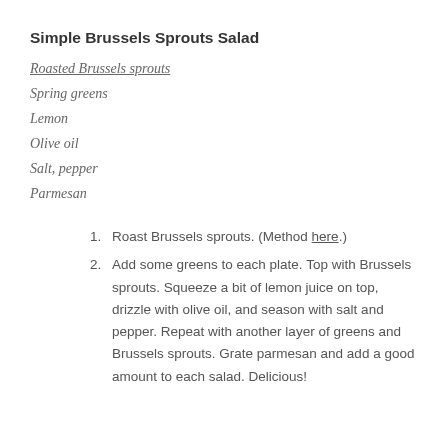Simple Brussels Sprouts Salad
Roasted Brussels sprouts
Spring greens
Lemon
Olive oil
Salt, pepper
Parmesan
1. Roast Brussels sprouts. (Method here.)
2. Add some greens to each plate. Top with Brussels sprouts. Squeeze a bit of lemon juice on top, drizzle with olive oil, and season with salt and pepper. Repeat with another layer of greens and Brussels sprouts. Grate parmesan and add a good amount to each salad. Delicious!